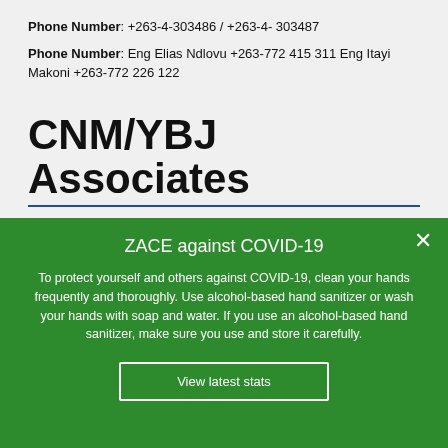Phone Number: +263-4-303486 / +263-4- 303487
Phone Number: Eng Elias Ndlovu +263-772 415 311 Eng Itayi Makoni +263-772 226 122
CNM/YBJ Associates
ZACE against COVID-19
To protect yourself and others against COVID-19, clean your hands frequently and thoroughly. Use alcohol-based hand sanitizer or wash your hands with soap and water. If you use an alcohol-based hand sanitizer, make sure you use and store it carefully.
View latest stats